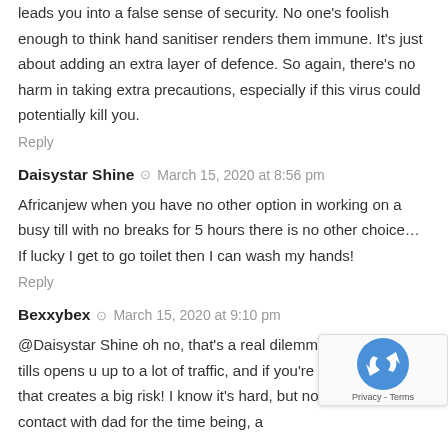leads you into a false sense of security. No one's foolish enough to think hand sanitiser renders them immune. It's just about adding an extra layer of defence. So again, there's no harm in taking extra precautions, especially if this virus could potentially kill you.
Reply
Daisystar Shine  March 15, 2020 at 8:56 pm
Africanjew when you have no other option in working on a busy till with no breaks for 5 hours there is no other choice… If lucky I get to go toilet then I can wash my hands!
Reply
Bexxybex  March 15, 2020 at 9:10 pm
@Daisystar Shine oh no, that's a real dilemma! Being on the tills opens u up to a lot of traffic, and if you're also y... carer that creates a big risk! I know it's hard, but no... and no close contact with dad for the time being, a...